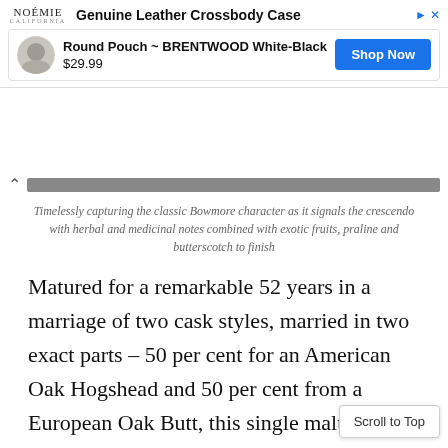[Figure (screenshot): Advertisement banner for Noemie California brand showing 'Genuine Leather Crossbody Case' with a product listing for 'Round Pouch ~ BRENTWOOD White-Black' priced at $29.99 with a 'Shop Now' button.]
Timelessly capturing the classic Bowmore character as it signals the crescendo with herbal and medicinal notes combined with exotic fruits, praline and butterscotch to finish
Matured for a remarkable 52 years in a marriage of two cask styles, married in two exact parts – 50 per cent for an American Oak Hogshead and 50 per cent from a European Oak Butt, this single malt promises unquestionable complexity but is perfectly balanced by bringing together these individual styles in equal parts. Timelessly capturing the classic Bowmore character as it signals the crescendo with herbal and medicinal notes combined with exotic fruits, praline and bu